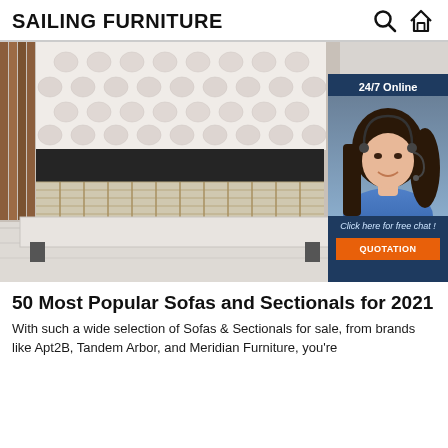SAILING FURNITURE
[Figure (photo): Photo of a white upholstered bed frame with tufted headboard showing wooden slats, displayed in a room setting. Overlaid with a dark blue customer support chat widget showing '24/7 Online', a female agent with headset, 'Click here for free chat!' text, and an orange QUOTATION button.]
50 Most Popular Sofas and Sectionals for 2021
With such a wide selection of Sofas & Sectionals for sale, from brands like Apt2B, Tandem Arbor, and Meridian Furniture, you're